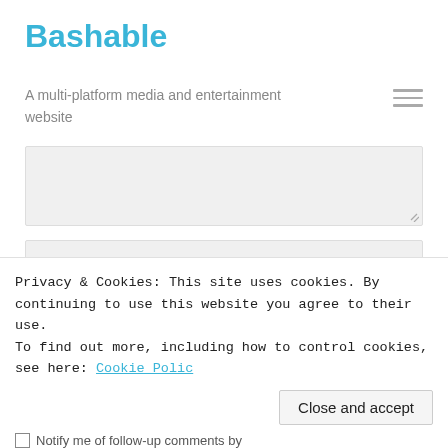Bashable
A multi-platform media and entertainment website
[Figure (other): Hamburger menu icon (three horizontal lines)]
[Figure (other): Comment textarea input field (empty, gray background)]
[Figure (other): Name text input field with placeholder 'Name *']
[Figure (other): Partially visible text input field]
Privacy & Cookies: This site uses cookies. By continuing to use this website you agree to their use.
To find out more, including how to control cookies, see here: Cookie Policy
[Figure (other): Close and accept button]
Notify me of follow-up comments by